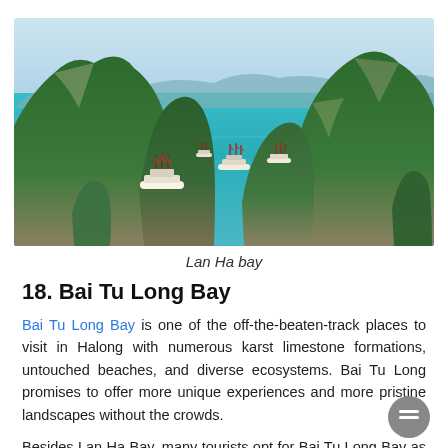[Figure (photo): Aerial view of Lan Ha Bay with karst limestone islands, turquoise water, and cruise boats floating in the bay surrounded by green forested mountains]
Lan Ha bay
18. Bai Tu Long Bay
Bai Tu Long Bay is one of the off-the-beaten-track places to visit in Halong with numerous karst limestone formations, untouched beaches, and diverse ecosystems. Bai Tu Long promises to offer more unique experiences and more pristine landscapes without the crowds.
Besides Lan Ha Bay, many tourists opt for Bai Tu Long Bay as an ideal destination while taking a Halong Cruise. Here,